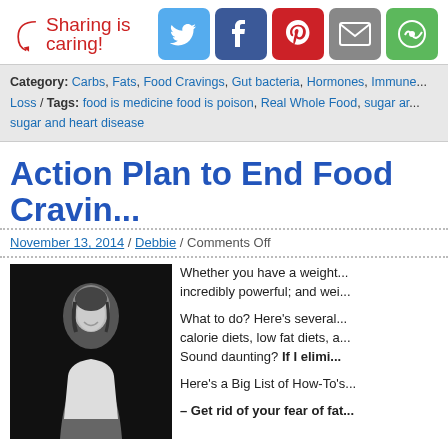[Figure (infographic): Sharing is caring header with social media icons: Twitter (blue), Facebook (dark blue), Pinterest (red), Email (grey), More (green)]
Category: Carbs, Fats, Food Cravings, Gut bacteria, Hormones, Immune... Loss / Tags: food is medicine food is poison, Real Whole Food, sugar ar... sugar and heart disease
Action Plan to End Food Cravin...
November 13, 2014 / Debbie / Comments Off
[Figure (photo): Black and white portrait photo of a woman in a white sleeveless top, smiling, on dark background]
Whether you have a weight... incredibly powerful; and wei...
What to do? Here's several... calorie diets, low fat diets, a...  Sound daunting? If I elimi...
Here's a Big List of How-To's...
– Get rid of your fear of fat...